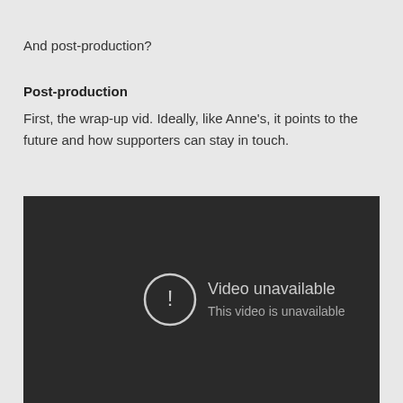And post-production?
Post-production
First, the wrap-up vid. Ideally, like Anne's, it points to the future and how supporters can stay in touch.
[Figure (screenshot): Embedded video player showing 'Video unavailable. This video is unavailable.' message on a dark background.]